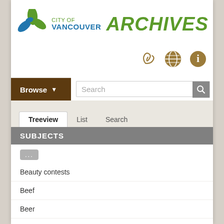[Figure (logo): City of Vancouver Archives logo with stylized leaf/flower icon in blue and green, 'CITY OF VANCOUVER' in blue text, and 'ARCHIVES' in large green italic bold text]
[Figure (illustration): Three icon buttons: a paperclip icon, a globe icon, and an info (i) icon, all in brown/tan color]
Browse
Search
Treeview
List
Search
SUBJECTS
...
Beauty contests
Beef
Beer
Bells